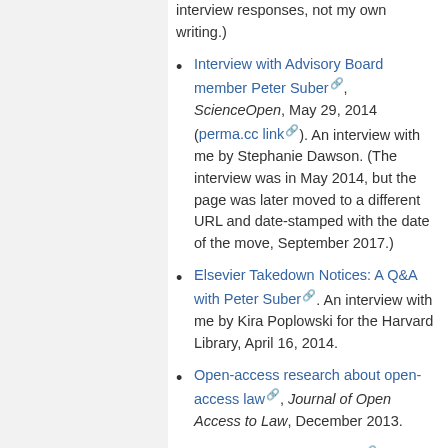interview responses, not my own writing.)
Interview with Advisory Board member Peter Suber, ScienceOpen, May 29, 2014 (perma.cc link). An interview with me by Stephanie Dawson. (The interview was in May 2014, but the page was later moved to a different URL and date-stamped with the date of the move, September 2017.)
Elsevier Takedown Notices: A Q&A with Peter Suber. An interview with me by Kira Poplowski for the Harvard Library, April 16, 2014.
Open-access research about open-access law, Journal of Open Access to Law, December 2013.
The State of Open Access. An interview with me and Elizabeth